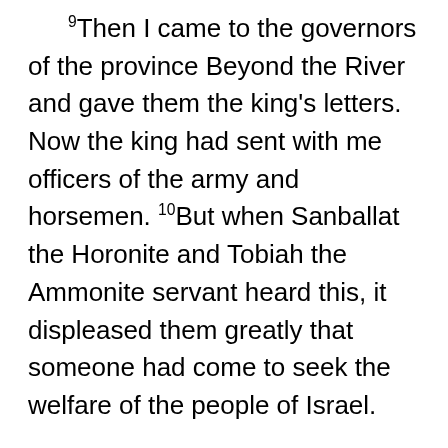9Then I came to the governors of the province Beyond the River and gave them the king's letters. Now the king had sent with me officers of the army and horsemen. 10But when Sanballat the Horonite and Tobiah the Ammonite servant heard this, it displeased them greatly that someone had come to seek the welfare of the people of Israel.
11So I went to Jerusalem and was there three days. 12Then I arose in the night, I and a few men with me. And I told no one what my God had put into my heart to do for Jerusalem. There was no animal with me but the one on which I rode. 13I went out by night by the Valley Gate to the Dragon